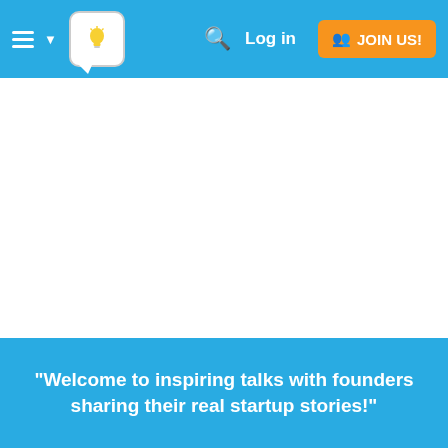Log in  JOIN US!
[Figure (screenshot): White empty content area of a startup community website]
"Welcome to inspiring talks with founders sharing their real startup stories!"